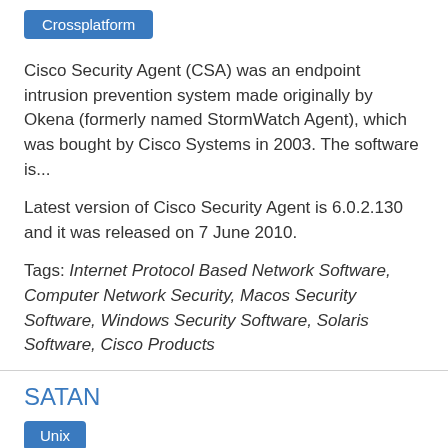[Figure (other): Blue badge/tag labeled 'Crossplatform']
Cisco Security Agent (CSA) was an endpoint intrusion prevention system made originally by Okena (formerly named StormWatch Agent), which was bought by Cisco Systems in 2003. The software is...
Latest version of Cisco Security Agent is 6.0.2.130 and it was released on 7 June 2010.
Tags: Internet Protocol Based Network Software, Computer Network Security, Macos Security Software, Windows Security Software, Solaris Software, Cisco Products
SATAN
[Figure (other): Blue badge/tag labeled 'Unix']
Security Administrator Tool for Analyzing Networks (SATAN) was a free software